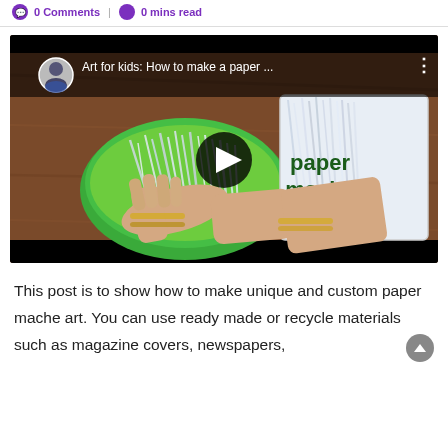0 Comments | 0 mins read
[Figure (screenshot): YouTube video thumbnail showing hands working with shredded paper strips in a green bowl and a white box. Text overlay reads 'Art for kids: How to make a paper ...' with a play button in the center. The word 'paper mache' appears in dark green text on the right side of the image.]
This post is to show how to make unique and custom paper mache art. You can use ready made or recycle materials such as magazine covers, newspapers,